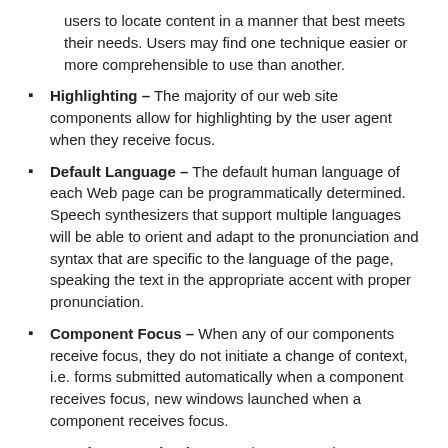users to locate content in a manner that best meets their needs. Users may find one technique easier or more comprehensible to use than another.
Highlighting – The majority of our web site components allow for highlighting by the user agent when they receive focus.
Default Language – The default human language of each Web page can be programmatically determined. Speech synthesizers that support multiple languages will be able to orient and adapt to the pronunciation and syntax that are specific to the language of the page, speaking the text in the appropriate accent with proper pronunciation.
Component Focus – When any of our components receive focus, they do not initiate a change of context, i.e. forms submitted automatically when a component receives focus, new windows launched when a component receives focus.
Consistent Navigation – We have a consistent navigation across our web pages. This technique makes the placement of navigational components more predictable.